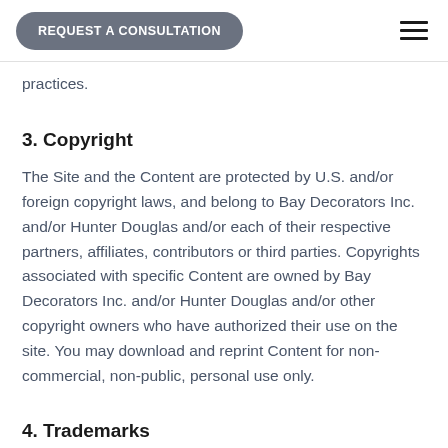REQUEST A CONSULTATION
practices.
3. Copyright
The Site and the Content are protected by U.S. and/or foreign copyright laws, and belong to Bay Decorators Inc. and/or Hunter Douglas and/or each of their respective partners, affiliates, contributors or third parties. Copyrights associated with specific Content are owned by Bay Decorators Inc. and/or Hunter Douglas and/or other copyright owners who have authorized their use on the site. You may download and reprint Content for non-commercial, non-public, personal use only.
4. Trademarks
You are prohibited from using any of the marks shown